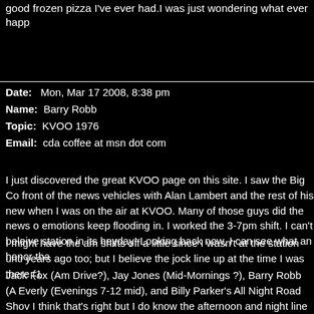good frozen pizza I've ever had.I was just wondering what ever happ
Date: Mon, Mar 17 2008, 8:38 pm
Name: Barry Robb
Topic: KVOO 1976
Email: cda coffee at msn dot com
I just discovered the great KVOO page on this site. I saw the Big Co front of the news vehicles with Alan Lambert and the rest of his new when I was on the air at KVOO. Many of those guys did the news o emotions keep flooding in. I worked the 3-7pm shift. I can't beleive station in its heyday! Looking back now, I can see what an honor tha
I might have the am shifts off a little since I wasn't at the station unti years ago too; but I believe the jock line up at the time I was there (1
Jack Fox (Am Drive?), Jay Jones (Mid-Mornings ?), Barry Robb (A Everly (Evenings 7-12 mid), and Billy Parker's All Night Road Shov I think that's right but I do know the afternoon and night line up is ri Barry Robb